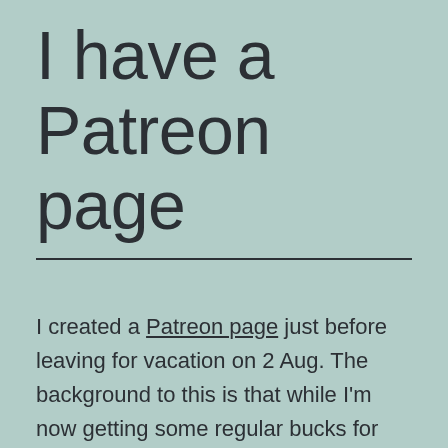I have a Patreon page
I created a Patreon page just before leaving for vacation on 2 Aug. The background to this is that while I'm now getting some regular bucks for working on NTPsec, it's not a lot. Royalties from my books have been dwindling and my wife Cathy isn't making all that much from legal